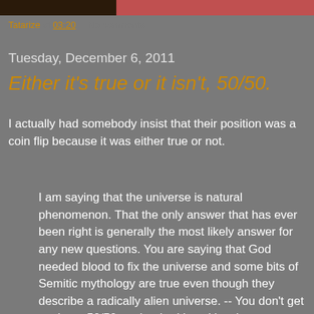[Figure (photo): Partial image strip at top of page showing dark brown/black on left and pink/red on right]
Tatarize at 03:20    No comments:
Tuesday, December 6, 2011
Either it's true or it isn't, 50/50.
I actually had somebody insist that their position was a coin flip because it was either true or not.
I am saying that the universe is natural phenomenon. That the only answer that has ever been right is generally the most likely answer for any new questions. You are saying that God needed blood to fix the universe and some bits of Semitic mythology are true even though they describe a radically alien universe. -- You don't get to slap a 50/50 on that bad boy. It's a horse race. My horse has never ever lost. Your horse